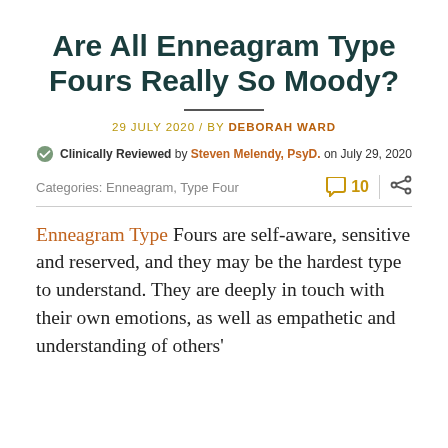Are All Enneagram Type Fours Really So Moody?
29 JULY 2020 / BY DEBORAH WARD
Clinically Reviewed by Steven Melendy, PsyD. on July 29, 2020
Categories: Enneagram, Type Four   10
Enneagram Type Fours are self-aware, sensitive and reserved, and they may be the hardest type to understand. They are deeply in touch with their own emotions, as well as empathetic and understanding of others'